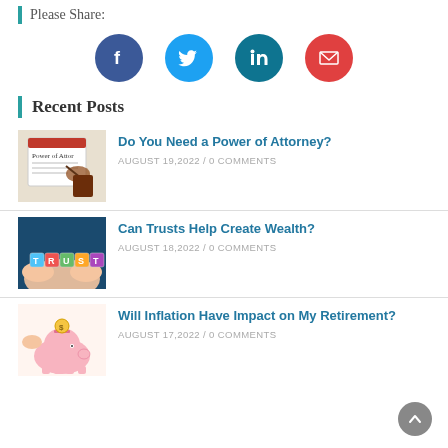Please Share:
[Figure (infographic): Four social media share buttons: Facebook (dark blue circle), Twitter (light blue circle), LinkedIn (teal circle), Email (red circle)]
Recent Posts
[Figure (photo): Power of Attorney document with pen and book]
Do You Need a Power of Attorney?
AUGUST 19,2022 / 0 COMMENTS
[Figure (photo): Hands holding colorful TRUST letter blocks]
Can Trusts Help Create Wealth?
AUGUST 18,2022 / 0 COMMENTS
[Figure (photo): Piggy bank with coin being inserted]
Will Inflation Have Impact on My Retirement?
AUGUST 17,2022 / 0 COMMENTS